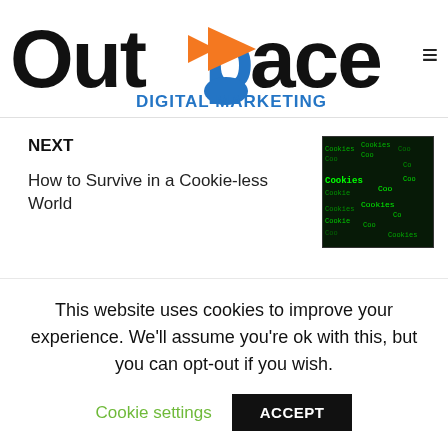[Figure (logo): Outpace Digital Marketing logo with orange arrow and blue 'P' letterform]
NEXT
How to Survive in a Cookie-less World
[Figure (photo): Dark green matrix-style image with 'Cookies' text repeated]
Related Posts
[Figure (photo): Grayscale image strip preview for related post]
This website uses cookies to improve your experience. We'll assume you're ok with this, but you can opt-out if you wish.
Cookie settings
ACCEPT